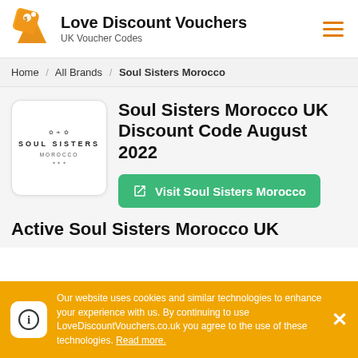Love Discount Vouchers — UK Voucher Codes
Home / All Brands / Soul Sisters Morocco
[Figure (logo): Soul Sisters Morocco brand logo — small decorative emblem above text SOUL SISTERS MOROCCO]
Soul Sisters Morocco UK Discount Code August 2022
Visit Soul Sisters Morocco
Active Soul Sisters Morocco UK
Our website uses cookies and similar technologies to enhance your experience with us. By continuing to use LoveDiscountVouchers.co.uk you agree to the use of these technologies. Read more.